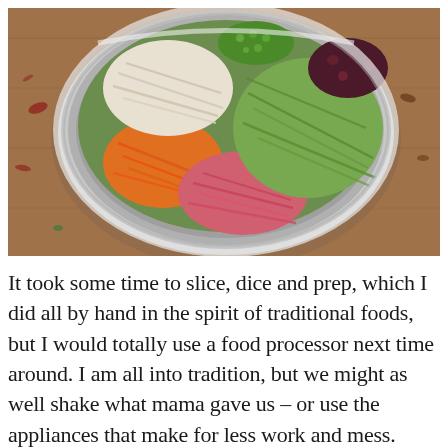[Figure (photo): Overhead photograph of a large stainless steel mixing bowl on a wooden cutting board, filled with colorful shredded vegetables arranged in sections: shredded carrots (orange), shredded red/purple cabbage (pink), shredded napa cabbage (green/yellow), chopped green onions, and dried red herbs/flowers. Various vegetable pieces are scattered on the cutting board around the bowl.]
It took some time to slice, dice and prep, which I did all by hand in the spirit of traditional foods, but I would totally use a food processor next time around. I am all into tradition, but we might as well shake what mama gave us – or use the appliances that make for less work and mess.